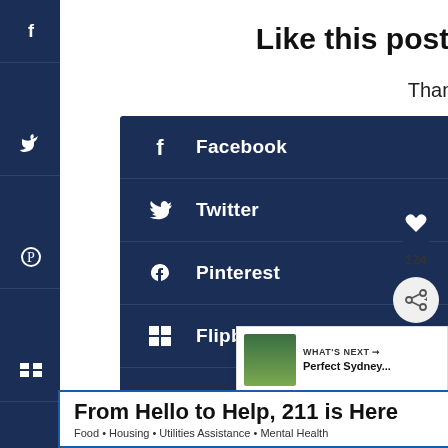Like this post? Why Not Share It?
Thanks for Sharing!
Facebook
Twitter
Pinterest
Flipboard
Mix
124
WHAT'S NEXT → Perfect Sydney...
From Hello to Help, 211 is Here
Food • Housing • Utilities Assistance • Mental Health